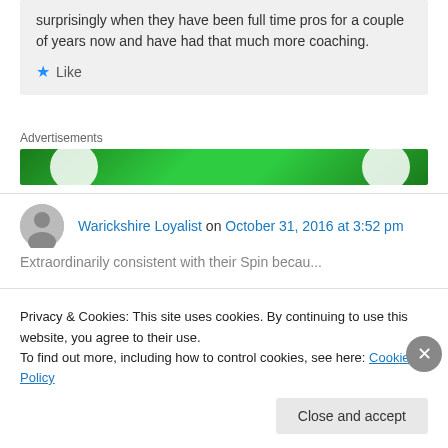surprisingly when they have been full time pros for a couple of years now and have had that much more coaching.
★ Like
Advertisements
[Figure (other): Green advertisement banner with white circular overlays]
Warickshire Loyalist on October 31, 2016 at 3:52 pm
Privacy & Cookies: This site uses cookies. By continuing to use this website, you agree to their use. To find out more, including how to control cookies, see here: Cookie Policy
Close and accept